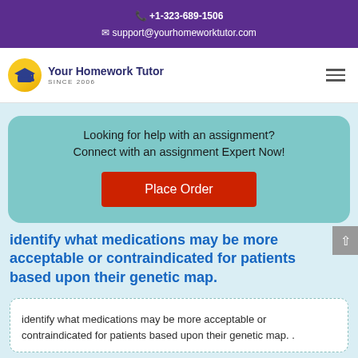+1-323-689-1506
support@yourhomeworktutor.com
[Figure (logo): Your Homework Tutor logo with graduation cap icon in yellow circle, text 'Your Homework Tutor SINCE 2006']
Looking for help with an assignment? Connect with an assignment Expert Now!
Place Order
identify what medications may be more acceptable or contraindicated for patients based upon their genetic map.
identify what medications may be more acceptable or contraindicated for patients based upon their genetic map. .